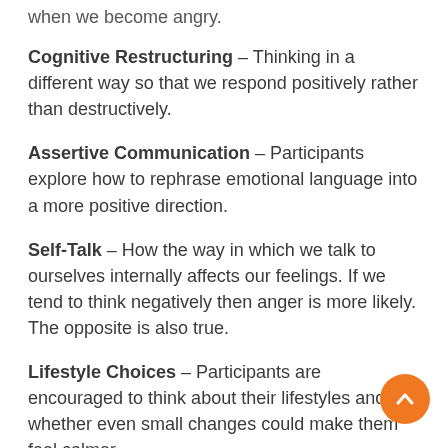when we become angry.
Cognitive Restructuring – Thinking in a different way so that we respond positively rather than destructively.
Assertive Communication – Participants explore how to rephrase emotional language into a more positive direction.
Self-Talk – How the way in which we talk to ourselves internally affects our feelings. If we tend to think negatively then anger is more likely. The opposite is also true.
Lifestyle Choices – Participants are encouraged to think about their lifestyles and whether even small changes could make them feel calmer.